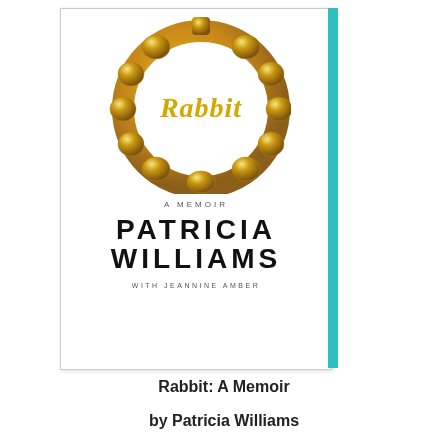[Figure (illustration): Book cover for 'Rabbit: A Memoir' by Patricia Williams with Jeannine Amber. White cover featuring a gold bamboo hoop earring with 'Rabbit' written in cursive script across it. A teal vertical bar runs along the right side of the cover. Text reads 'A MEMOIR', 'PATRICIA WILLIAMS', 'WITH JEANNINE AMBER'.]
Rabbit: A Memoir
by Patricia Williams